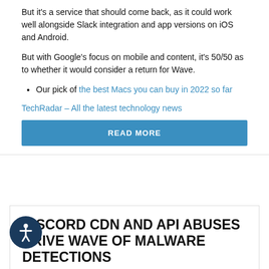But it's a service that should come back, as it could work well alongside Slack integration and app versions on iOS and Android.
But with Google's focus on mobile and content, it's 50/50 as to whether it would consider a return for Wave.
Our pick of the best Macs you can buy in 2022 so far
TechRadar – All the latest technology news
READ MORE
DISCORD CDN AND API ABUSES DRIVE WAVE OF MALWARE DETECTIONS